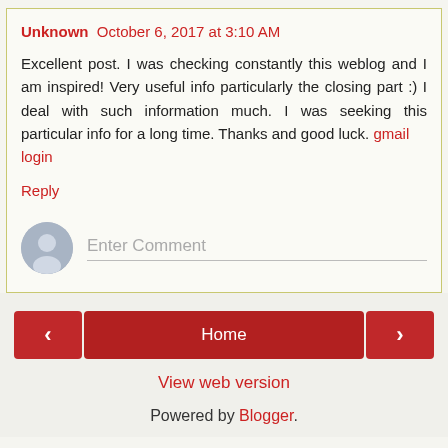Unknown  October 6, 2017 at 3:10 AM
Excellent post. I was checking constantly this weblog and I am inspired! Very useful info particularly the closing part :) I deal with such information much. I was seeking this particular info for a long time. Thanks and good luck. gmail login
Reply
[Figure (other): Comment input area with avatar icon and Enter Comment placeholder text]
< Home >  View web version  Powered by Blogger.